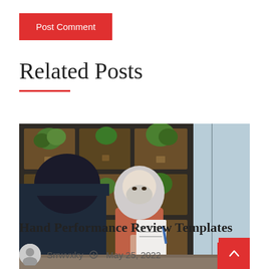Post Comment
Related Posts
[Figure (photo): A woman wearing a hijab and face mask sits at a table in an office with plants and a grid-style shelf backdrop, holding papers and gesturing in conversation with a person whose back is visible in the foreground.]
Hand Performance Review Templates
Srrwvxky  May 25, 2022